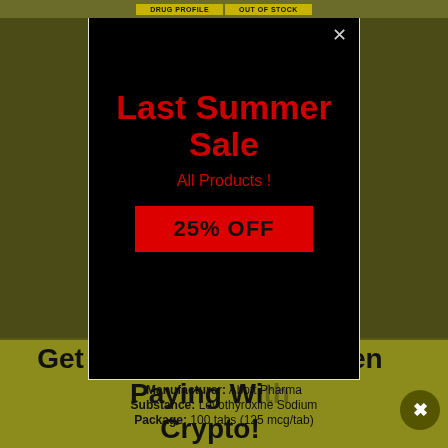DRUG PROFILE   OUT OF STOCK
Last Summer Sale
All Products !
25% OFF
Manufacturer: Abott Pharma
Substance: Levothyroxine Sodium
Package: 100 tabs (125 mcg/tab)
Get 20% Cash Back When Paying With Crypto!